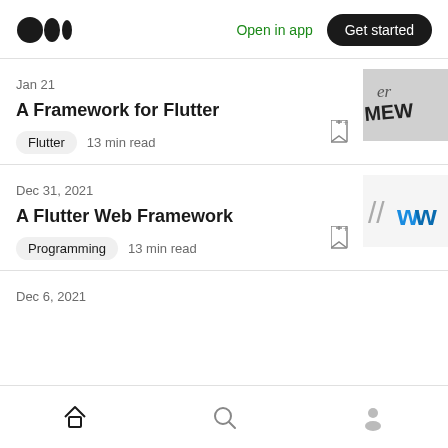Medium logo | Open in app | Get started
Jan 21
A Framework for Flutter
Flutter   13 min read
[Figure (photo): Thumbnail image showing 'er MEW' text/logo]
Dec 31, 2021
A Flutter Web Framework
Programming   13 min read
[Figure (logo): Thumbnail image showing // and blue W logo]
Dec 6, 2021
Home | Search | Profile